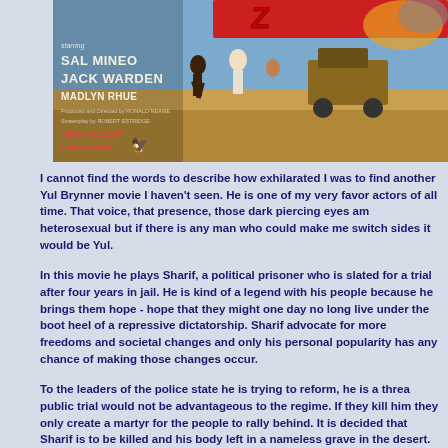[Figure (photo): Movie poster for a film featuring Sal Mineo, Jack Warden, Madlyn Rhue. Produced and directed by Ronald Neame. Screenplay by Robert Estridge. Technicolor and Panavision. Shows people running with a vehicle in a desert scene.]
I cannot find the words to describe how exhilarated I was to find another Yul Brynner movie I haven't seen. He is one of my very favorite actors of all time. That voice, that presence, those dark piercing eyes. I am heterosexual but if there is any man who could make me switch sides it would be Yul.
In this movie he plays Sharif, a political prisoner who is slated for a trial after four years in jail. He is kind of a legend with his people because he brings them hope - hope that they might one day no longer live under the boot heel of a repressive dictatorship. Sharif advocates for more freedoms and societal changes and only his personal popularity has any chance of making those changes occur.
To the leaders of the police state he is trying to reform, he is a threat. A public trial would not be advantageous to the regime. If they kill him, they only create a martyr for the people to rally behind. It is decided that Sharif is to be killed and his body left in a nameless grave in the desert.